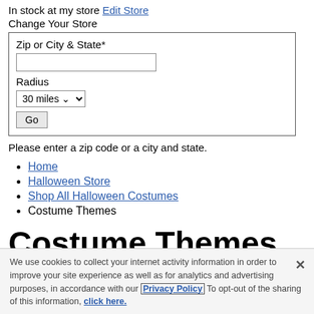In stock at my store Edit Store
Change Your Store
[Figure (screenshot): Store locator form with Zip or City & State input, Radius dropdown set to 30 miles, and Go button]
Please enter a zip code or a city and state.
Home
Halloween Store
Shop All Halloween Costumes
Costume Themes
Costume Themes
We use cookies to collect your internet activity information in order to improve your site experience as well as for analytics and advertising purposes, in accordance with our Privacy Policy To opt-out of the sharing of this information, click here.